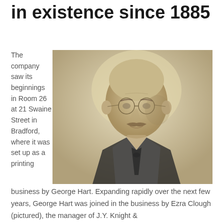in existence since 1885
The company saw its beginnings in Room 26 at 21 Swaine Street in Bradford, where it was set up as a printing business by George Hart. Expanding rapidly over the next few years, George Hart was joined in the business by Ezra Clough (pictured), the manager of J.Y. Knight &
[Figure (photo): Sepia-toned portrait photograph of an older gentleman with a bald head, round wire-framed glasses, and a moustache, wearing a dark suit and tie. This is Ezra Clough.]